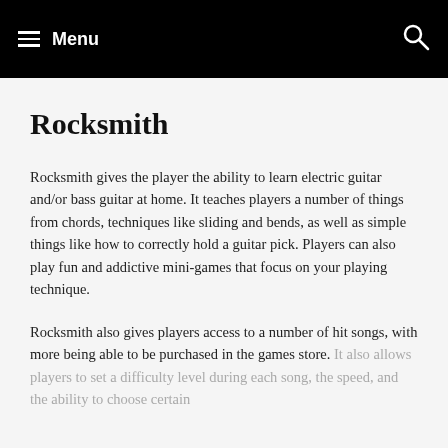Menu
Rocksmith
Rocksmith gives the player the ability to learn electric guitar and/or bass guitar at home. It teaches players a number of things from chords, techniques like sliding and bends, as well as simple things like how to correctly hold a guitar pick. Players can also play fun and addictive mini-games that focus on your playing technique.
Rocksmith also gives players access to a number of hit songs, with more being able to be purchased in the games store. It also allows players to set a difficulty level during each song, the speed, and the ability to choose certain